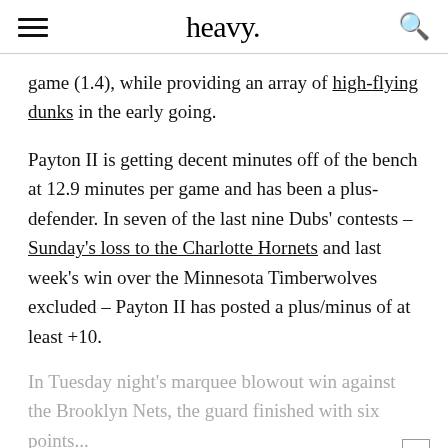heavy.
game (1.4), while providing an array of high-flying dunks in the early going.
Payton II is getting decent minutes off of the bench at 12.9 minutes per game and has been a plus-defender. In seven of the last nine Dubs' contests – Sunday's loss to the Charlotte Hornets and last week's win over the Minnesota Timberwolves excluded – Payton II has posted a plus/minus of at least +10.
In Tuesday night's marquee blowout win against the Brooklyn Nets, the guard finished with six points...